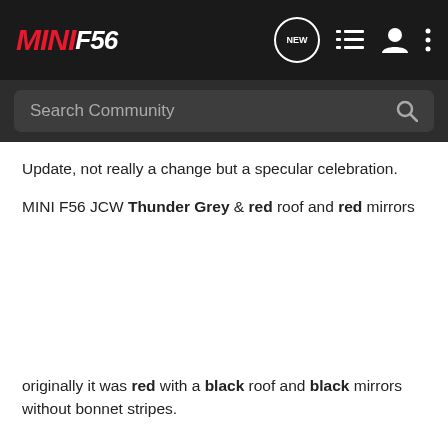MINI F56 — Navigation bar with logo, NEW chat icon, list icon, user icon, menu icon
Search Community
Update, not really a change but a specular celebration.
MINI F56 JCW Thunder Grey & red roof and red mirrors
originally it was red with a black roof and black mirrors without bonnet stripes.